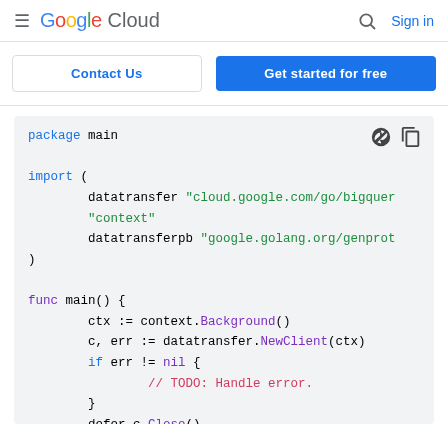Google Cloud  Sign in
Contact Us  |  Get started for free
[Figure (screenshot): Google Cloud documentation page showing a Go code snippet with package main, import block with datatransfer and context, and func main with ctx, c, err and if err != nil block with TODO comment, ending with defer c.Close()]